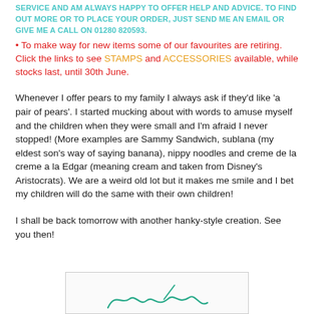SERVICE AND AM ALWAYS HAPPY TO OFFER HELP AND ADVICE. TO FIND OUT MORE OR TO PLACE YOUR ORDER, JUST SEND ME AN EMAIL OR GIVE ME A CALL ON 01280 820593.
• To make way for new items some of our favourites are retiring. Click the links to see STAMPS and ACCESSORIES available, while stocks last, until 30th June.
Whenever I offer pears to my family I always ask if they'd like 'a pair of pears'. I started mucking about with words to amuse myself and the children when they were small and I'm afraid I never stopped! (More examples are Sammy Sandwich, sublana (my eldest son's way of saying banana), nippy noodles and creme de la creme a la Edgar (meaning cream and taken from Disney's Aristocrats). We are a weird old lot but it makes me smile and I bet my children will do the same with their own children!
I shall be back tomorrow with another hanky-style creation. See you then!
[Figure (illustration): A handwritten-style signature in teal/green ink on a light background, partially visible at the bottom of the page.]